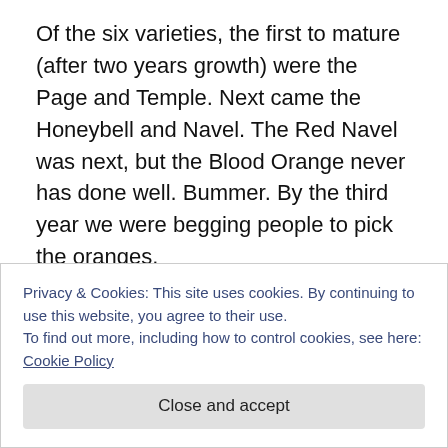Of the six varieties, the first to mature (after two years growth) were the Page and Temple. Next came the Honeybell and Navel. The Red Navel was next, but the Blood Orange never has done well. Bummer. By the third year we were begging people to pick the oranges.
Tom calls himself an organic orchard grower. Except for the occasional special orange-food sticks, and the water they get when the sprinkler system comes on in their ‘zone’, he doesn’t do anything else to them except prune when he absolutely has to … or when they overgrow our
Privacy & Cookies: This site uses cookies. By continuing to use this website, you agree to their use.
To find out more, including how to control cookies, see here: Cookie Policy
Close and accept